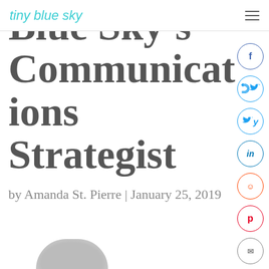tiny blue sky
Blue Sky's Communications Strategist
by Amanda St. Pierre | January 25, 2019